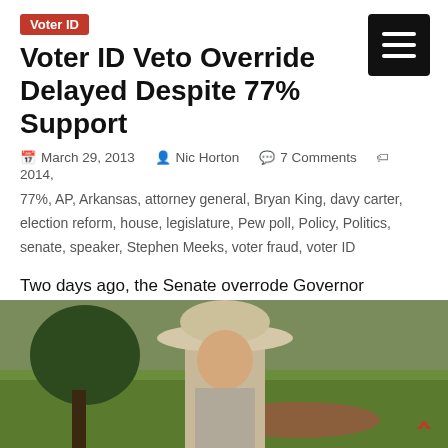Voter ID
Voter ID Veto Override Delayed Despite 77% Support
March 29, 2013  Nic Horton  7 Comments  2014, 77%, AP, Arkansas, attorney general, Bryan King, davy carter, election reform, house, legislature, Pew poll, Policy, Politics, senate, speaker, Stephen Meeks, voter fraud, voter ID
Two days ago, the Senate overrode Governor Beebe's veto of the voter ID bill, SB2. The House was scheduled to
Read more
[Figure (photo): Outdoor photo showing a person wearing a wide-brimmed hat standing on grass with a tree in the background]